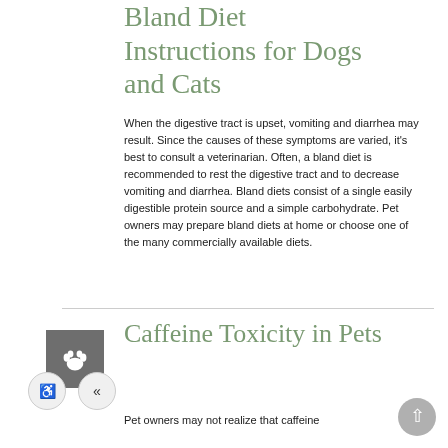Bland Diet Instructions for Dogs and Cats
When the digestive tract is upset, vomiting and diarrhea may result. Since the causes of these symptoms are varied, it's best to consult a veterinarian. Often, a bland diet is recommended to rest the digestive tract and to decrease vomiting and diarrhea. Bland diets consist of a single easily digestible protein source and a simple carbohydrate. Pet owners may prepare bland diets at home or choose one of the many commercially available diets.
[Figure (logo): Veterinary paw print icon in grey square with navigation buttons]
Caffeine Toxicity in Pets
Pet owners may not realize that caffeine